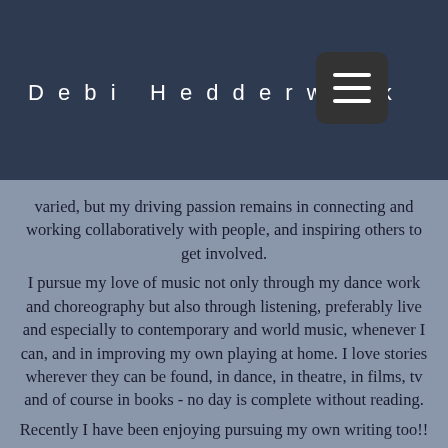Debi Hedderwick
needs m the ts and ny and varied, but my driving passion remains in connecting and working collaboratively with people, and inspiring others to get involved.
I pursue my love of music not only through my dance work and choreography but also through listening, preferably live and especially to contemporary and world music, whenever I can, and in improving my own playing at home. I love stories wherever they can be found, in dance, in theatre, in films, tv and of course in books - no day is complete without reading.
Recently I have been enjoying pursuing my own writing too!!
My move to Derbyshire 30 years ago enabled my re-connection with the natural world, living and walking (and swimming!) in the beautiful countryside